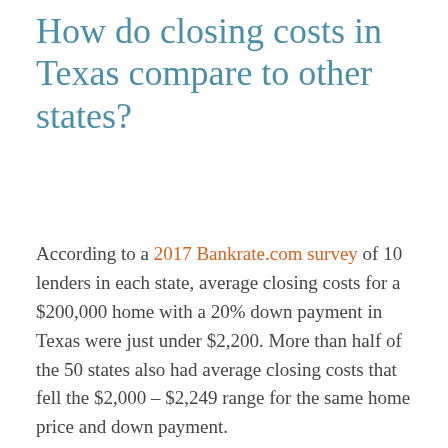How do closing costs in Texas compare to other states?
According to a 2017 Bankrate.com survey of 10 lenders in each state, average closing costs for a $200,000 home with a 20% down payment in Texas were just under $2,200. More than half of the 50 states also had average closing costs that fell the $2,000 – $2,249 range for the same home price and down payment.